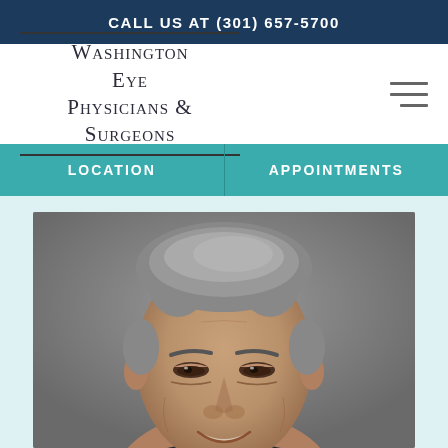CALL US AT (301) 657-5700
[Figure (logo): Washington Eye Physicians & Surgeons logo with small-caps serif text and horizontal rules above and below]
LOCATION
APPOINTMENTS
[Figure (photo): Professional headshot of a middle-aged man with grey hair, smiling, against a grey background]